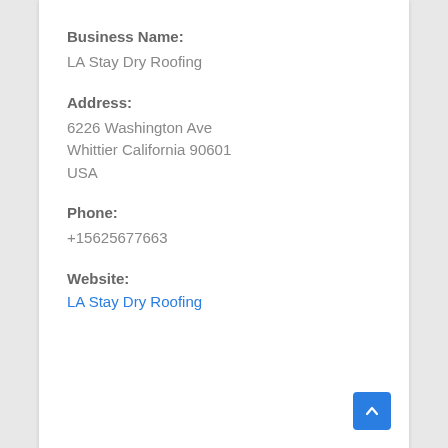Business Name:
LA Stay Dry Roofing
Address:
6226 Washington Ave
Whittier California 90601
USA
Phone:
+15625677663
Website:
LA Stay Dry Roofing